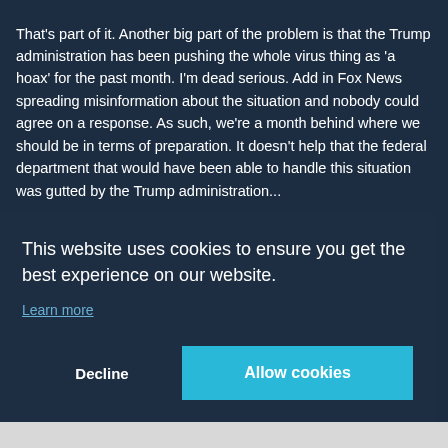That's part of it. Another big part of the problem is that the Trump administration has been pushing the whole virus thing as 'a hoax' for the past month. I'm dead serious. Add in Fox News spreading misinformation about the situation and nobody could agree on a response. As such, we're a month behind where we should be in terms of preparation. It doesn't help that the federal department that would have been able to handle this situation was gutted by the Trump administration...
It's amazing watching Trump and the Fox News team go [partially obscured by cookie overlay]
[Figure (screenshot): Cookie consent overlay with text 'This website uses cookies to ensure you get the best experience on our website.', a 'Learn more' link, and two buttons: 'Decline' and 'Allow cookies' (cyan/teal background).]